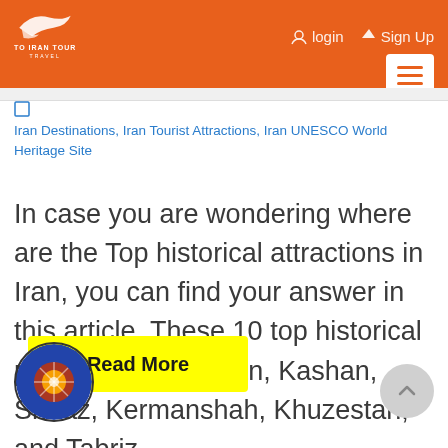TO IRAN TOUR — Login | Sign Up
Iran Destinations, Iran Tourist Attractions, Iran UNESCO World Heritage Site
In case you are wondering where are the Top historical attractions in Iran, you can find your answer in this article. These 10 top historical places are in Isfahan, Kashan, Shiraz, Kermanshah, Khuzestan, and Tabriz.
Read More